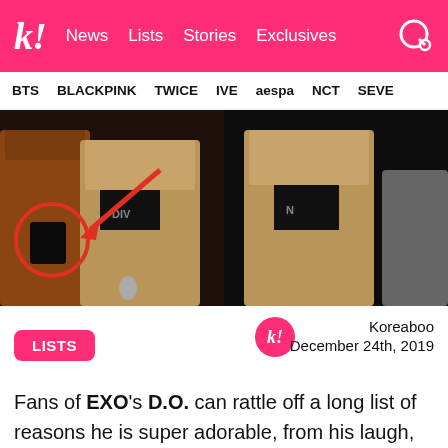k! News Lists Stories Exclusives
BTS BLACKPINK TWICE IVE aespa NCT SEVE
[Figure (photo): Two side-by-side concert photos of EXO member D.O. wearing a tan/brown jacket over a black shirt. The left photo has a red circle and arrow annotation pointing to something at his side. The background is dark.]
LISTS
Koreaboo
December 24th, 2019
Fans of EXO's D.O. can rattle off a long list of reasons he is super adorable, from his laugh, to the way he eats, to his embarrassed faces, to